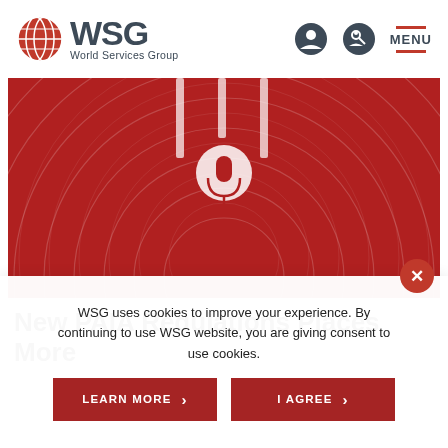[Figure (logo): WSG World Services Group logo with globe icon in red]
[Figure (illustration): Red background hero image with microphone icon and concentric circular lines]
New PAIA Regulations Places More
WSG uses cookies to improve your experience. By continuing to use WSG website, you are giving consent to use cookies.
LEARN MORE  >
I AGREE  >